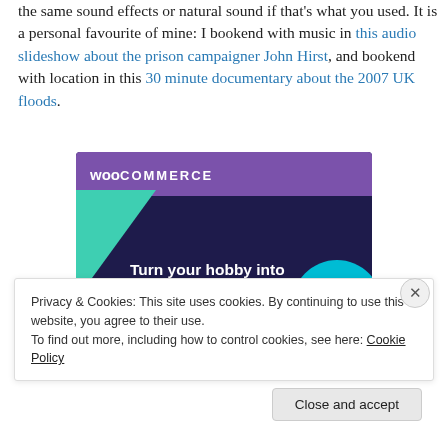the same sound effects or natural sound if that's what you used. It is a personal favourite of mine: I bookend with music in this audio slideshow about the prison campaigner John Hirst, and bookend with location in this 30 minute documentary about the 2007 UK floods.
[Figure (screenshot): WooCommerce advertisement banner with dark purple background, teal/green triangle shape on left, cyan circle on right, and text 'Turn your hobby into a business in 8 steps']
Privacy & Cookies: This site uses cookies. By continuing to use this website, you agree to their use.
To find out more, including how to control cookies, see here: Cookie Policy